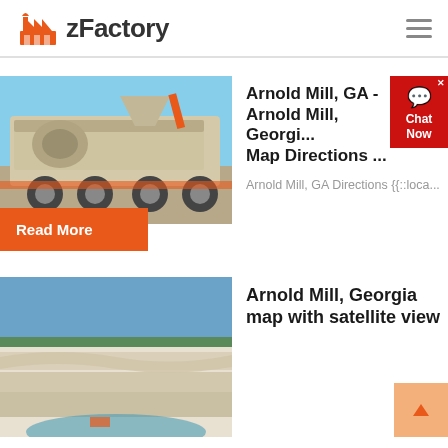zFactory
[Figure (photo): Mobile industrial crusher/mill machine on wheels at a worksite, beige and orange colored.]
Arnold Mill, GA - Arnold Mill, Georgia Map Directions ...
Arnold Mill, GA Directions {{::loca...
Read More
[Figure (photo): Aerial or ground-level view of a quarry or open-pit mining site with rocky terrain and blue sky.]
Arnold Mill, Georgia map with satellite view